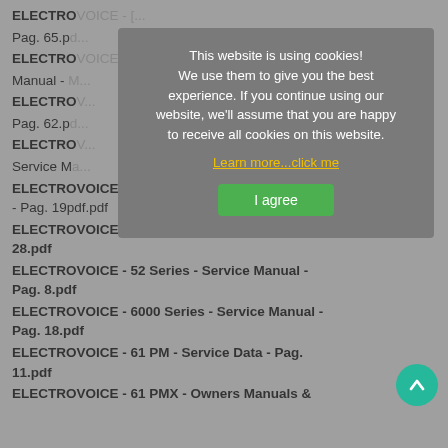ELECTROVOICE - [truncated by overlay]
Pag. 65.p[truncated]
ELECTRO[truncated]
Manual - [truncated]
ELECTRO[truncated]
Pag. 62.p[truncated]
ELECTRO[truncated]
Service M[truncated]
ELECTROVOICE - 5000 Series - Service Manual - Pag. 19pdf.pdf
ELECTROVOICE - 5001 - Power Module - Pag. 28.pdf
ELECTROVOICE - 52 Series - Service Manual - Pag. 8.pdf
ELECTROVOICE - 6000 Series - Service Manual - Pag. 18.pdf
ELECTROVOICE - 61 PM - Service Data - Pag. 11.pdf
ELECTROVOICE - 61 PMX - Owners Manuals &
[Figure (screenshot): Cookie consent overlay dialog with gray background, white text reading 'This website is using cookies! We use them to give you the best experience. If you continue using our website, we’ll assume that you are happy to receive all cookies on this website.' with a yellow underlined link 'Learn more…click me' and a green 'I agree' button.]